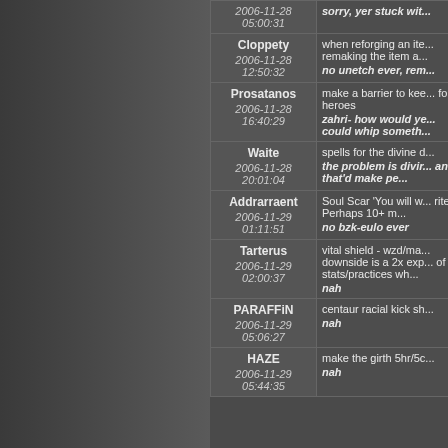| User/Date | Message |
| --- | --- |
| 2006-11-28 05:00:31 | sorry, yer stuck wit... |
| Cloppety
2006-11-28 12:50:32 | when reforging an ite... remaking the item a...
no unetch ever, rem... |
| Prosatanos
2006-11-28 16:40:29 | make a barrier to kee... for heroes
zahri- how would ye... could whip someth... |
| Waite
2006-11-28 20:01:04 | spells for the divine d...
the problem is divir... and that'd make pe... |
| Addrarraent
2006-11-29 01:11:51 | Soul Scar 'You will w... rite?) Perhaps 10+ m...
no bzk-eulo ever |
| Tarterus
2006-11-29 02:00:37 | vital shield - wzd/ma... downside is a 2x exp... of stats/practices wh...
nah |
| PARAFFiN
2006-11-29 05:06:27 | centaur racial kick sh...
nah |
| HAZE
2006-11-29 05:44:35 | make the girth 5hr/5c...
nah |